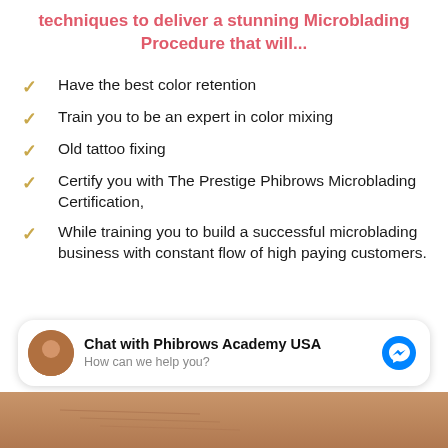techniques to deliver a stunning Microblading Procedure that will...
Have the best color retention
Train you to be an expert in color mixing
Old tattoo fixing
Certify you with The Prestige Phibrows Microblading Certification,
While training you to build a successful microblading business with constant flow of high paying customers.
[Figure (screenshot): Chat widget: Chat with Phibrows Academy USA, How can we help you? with Messenger icon and avatar photo]
[Figure (photo): Bottom portion showing a close-up skin/eyebrow texture in warm brown tones]